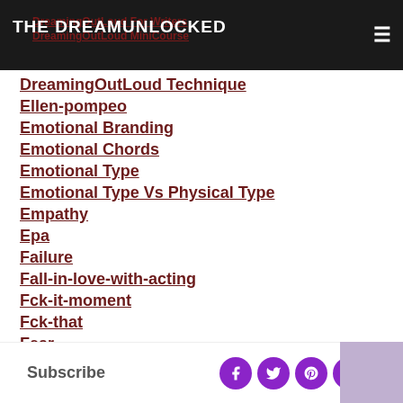THE DREAMUNLOCKED
DreamingOutLoud For Writers
DreamingOutLoud MiniCourse
DreamingOutLoud Technique
Ellen-pompeo
Emotional Branding
Emotional Chords
Emotional Type
Emotional Type Vs Physical Type
Empathy
Epa
Failure
Fall-in-love-with-acting
Fck-it-moment
Fck-that
Fear
Film
Subscribe